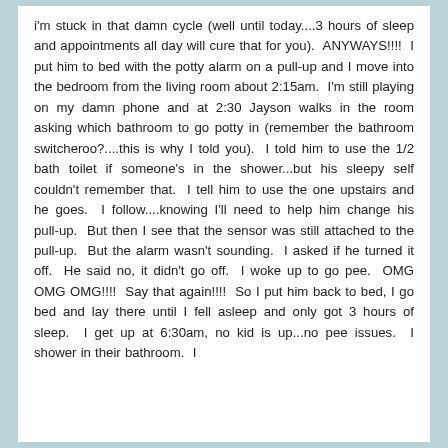i'm stuck in that damn cycle (well until today....3 hours of sleep and appointments all day will cure that for you).  ANYWAYS!!!!  I put him to bed with the potty alarm on a pull-up and I move into the bedroom from the living room about 2:15am.  I'm still playing on my damn phone and at 2:30 Jayson walks in the room asking which bathroom to go potty in (remember the bathroom switcheroo?....this is why I told you).  I told him to use the 1/2 bath toilet if someone's in the shower...but his sleepy self couldn't remember that.  I tell him to use the one upstairs and he goes.  I follow....knowing I'll need to help him change his pull-up.  But then I see that the sensor was still attached to the pull-up.  But the alarm wasn't sounding.  I asked if he turned it off.  He said no, it didn't go off.  I woke up to go pee.  OMG OMG OMG!!!!  Say that again!!!!  So I put him back to bed, I go bed and lay there until I fell asleep and only got 3 hours of sleep.  I get up at 6:30am, no kid is up...no pee issues.  I shower in their bathroom.  I